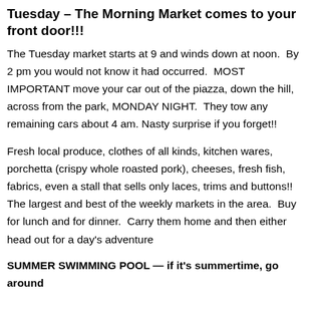Tuesday – The Morning Market comes to your front door!!!
The Tuesday market starts at 9 and winds down at noon.  By 2 pm you would not know it had occurred.  MOST IMPORTANT move your car out of the piazza, down the hill, across from the park, MONDAY NIGHT.  They tow any remaining cars about 4 am. Nasty surprise if you forget!!
Fresh local produce, clothes of all kinds, kitchen wares, porchetta (crispy whole roasted pork), cheeses, fresh fish, fabrics, even a stall that sells only laces, trims and buttons!!  The largest and best of the weekly markets in the area.  Buy for lunch and for dinner.  Carry them home and then either head out for a day's adventure
SUMMER SWIMMING POOL — if it's summertime, go around